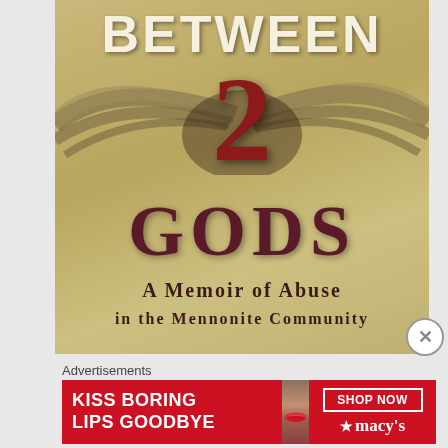[Figure (illustration): Book cover for 'Between 2 Gods: A Memoir of Abuse in the Mennonite Community'. Features large title text 'BETWEEN' at top in cream/white, a large red numeral '2' in center, 'GODS' in dark maroon below, with wing-like feather/hair streaks across middle. Gold/tan textured background. Subtitle 'A Memoir of Abuse in the Mennonite Community' at bottom.]
Advertisements
[Figure (photo): Macy's advertisement banner: red background with 'KISS BORING LIPS GOODBYE' text on left, woman's face with red lips in center, 'SHOP NOW' button and Macy's star logo on right.]